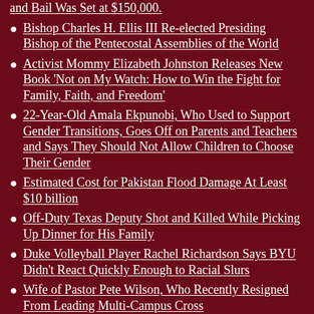... and Bail Was Set at $150,000.
Bishop Charles H. Ellis III Re-elected Presiding Bishop of the Pentecostal Assemblies of the World
Activist Mommy Elizabeth Johnston Releases New Book 'Not on My Watch: How to Win the Fight for Family, Faith, and Freedom'
22-Year-Old Amala Ekpunobi, Who Used to Support Gender Transitions, Goes Off on Parents and Teachers and Says They Should Not Allow Children to Choose Their Gender
Estimated Cost for Pakistan Flood Damage At Least $10 billion
Off-Duty Texas Deputy Shot and Killed While Picking Up Dinner for His Family
Duke Volleyball Player Rachel Richardson Says BYU Didn't React Quickly Enough to Racial Slurs
Wife of Pastor Pete Wilson, Who Recently Resigned From Leading Multi-Campus Cross